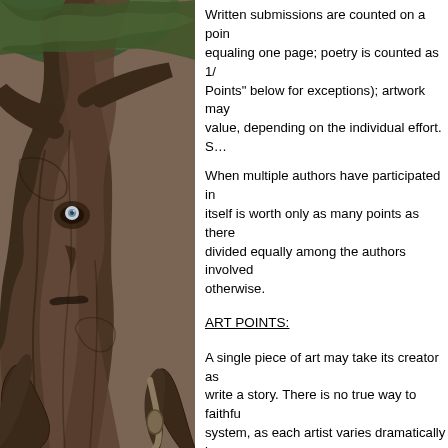[Figure (illustration): A detailed pencil/ink illustration of a gnarled, ancient tree with a face-like appearance embedded in the bark. The tree has massive twisted roots and branches with green foliage at the top. The artwork is rendered in brown and grey tones with intricate line work.]
Written submissions are counted on a point system, with 250 words equaling one page; poetry is counted as 1/2... Points" below for exceptions); artwork may... value, depending on the individual effort. S...
When multiple authors have participated in... itself is worth only as many points as there... divided equally among the authors involved... otherwise.
ART POINTS:
A single piece of art may take its creator as... write a story. There is no true way to faithfu... system, as each artist varies dramatically in... is the following:
• Simple sketch = ½ point
• Finished piece (b&w or color) = 1 point
• Showcase effort = 2 points
A simple sketch is an unfinished piece of w... either incomplete or stated by the artist as b... always considered "sketch" value.
A finished piece can be in black or white c... finished with it, if you feel that a piece that y... considered finished, though others may no...
In a showcase effort, the artwork is rich in...